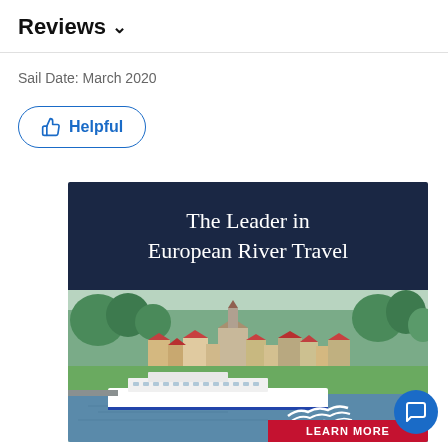Reviews ∨
Sail Date: March 2020
👍 Helpful
[Figure (illustration): Viking river cruises advertisement: 'The Leader in European River Travel' with a photo of a European river town and a Viking cruise ship docked along the river. Viking logo and 'LEARN MORE' button at bottom right.]